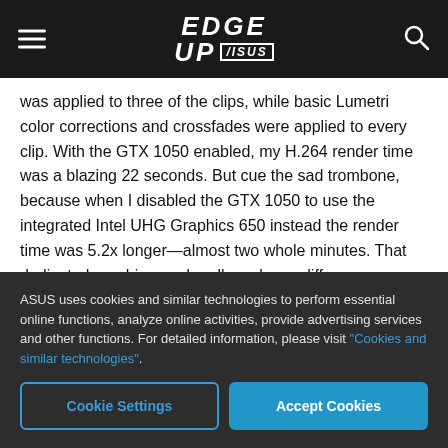EDGE UP ASUS
was applied to three of the clips, while basic Lumetri color corrections and crossfades were applied to every clip. With the GTX 1050 enabled, my H.264 render time was a blazing 22 seconds. But cue the sad trombone, because when I disabled the GTX 1050 to use the integrated Intel UHG Graphics 650 instead the render time was 5.2x longer—almost two whole minutes. That dedicated graphics card really makes a diff
ASUS uses cookies and similar technologies to perform essential online functions, analyze online activities, provide advertising services and other functions. For detailed information, please visit "Cookies and similar technologies".
Cookie Settings
Accept Cookies